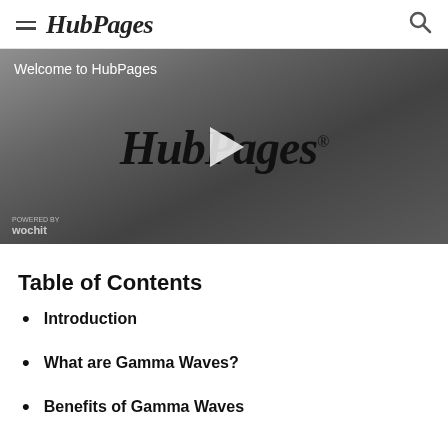≡ HubPages 🔍
[Figure (screenshot): Video thumbnail with HubPages logo and play button on dark gradient background. Title reads 'Welcome to HubPages'. Wochit branding in bottom left.]
Table of Contents
Introduction
What are Gamma Waves?
Benefits of Gamma Waves